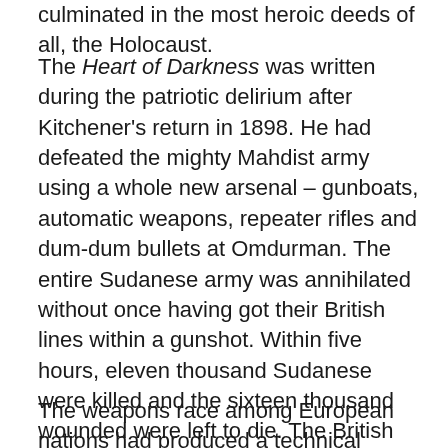culminated in the most heroic deeds of all, the Holocaust.
The Heart of Darkness was written during the patriotic delirium after Kitchener's return in 1898. He had defeated the mighty Mahdist army using a whole new arsenal – gunboats, automatic weapons, repeater rifles and dum-dum bullets at Omdurman. The entire Sudanese army was annihilated without once having got their British lines within a gunshot. Within five hours, eleven thousand Sudanese were killed and the sixteen thousand wounded were left to die. The British lost only forty-eight men. It was a sweet revenge for Gordon's defeat and death in 1885. Churchill was present and he rejoiced with champagne on the Nile.
The weapons race among European nations had produced a technical superiority that enabled the annihilation of any conceivable opponent from other